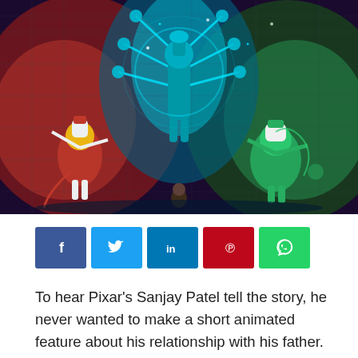[Figure (illustration): Animated scene showing three glowing characters: a red-lit figure on the left, a central cyan/blue multi-armed deity floating in the center, and a green-lit figure on the right, with a small child figure at the bottom center, set against a dark background with circuit-like patterns.]
[Figure (infographic): Social media share buttons: Facebook (blue), Twitter (blue), LinkedIn (blue), Pinterest (red), WhatsApp (green)]
To hear Pixar's Sanjay Patel tell the story, he never wanted to make a short animated feature about his relationship with his father. But after seeing the art